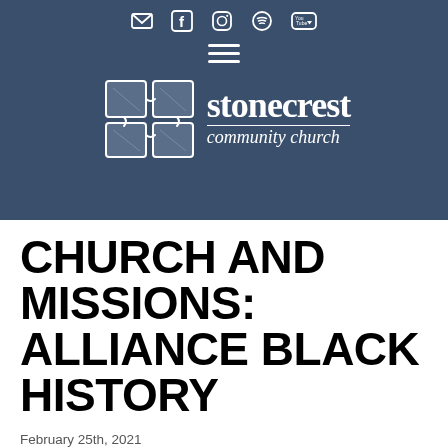Stonecrest Community Church — navigation header with social icons and logo
CHURCH AND MISSIONS: ALLIANCE BLACK HISTORY
February 25th, 2021
by Stonecrest Communications Team